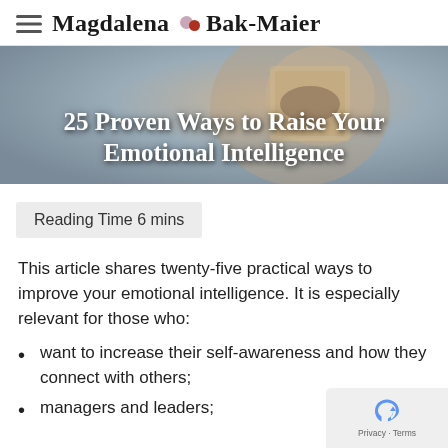Magdalena Bak-Maier
[Figure (photo): A person holding up a small square mirror reflecting their eyes, against a soft outdoor background. Overlaid with bold white title text.]
25 Proven Ways to Raise Your Emotional Intelligence
Reading Time 6 mins
This article shares twenty-five practical ways to improve your emotional intelligence. It is especially relevant for those who:
want to increase their self-awareness and how they connect with others;
managers and leaders;